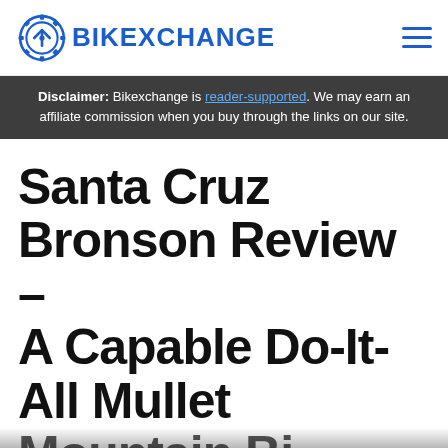BIKEXCHANGE
Disclaimer: Bikexchange is reader-supported. We may earn an affiliate commission when you buy through the links on our site.
Santa Cruz Bronson Review – A Capable Do-It-All Mullet Mountain Bi…